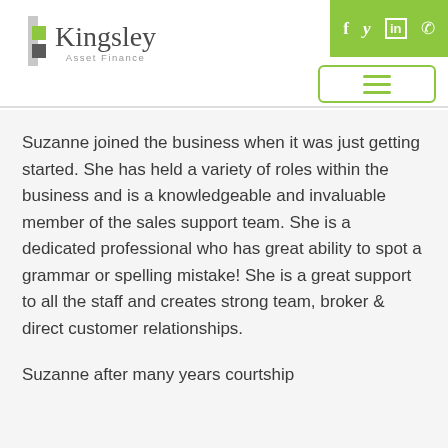Kingsley Asset Finance
Suzanne joined the business when it was just getting started. She has held a variety of roles within the business and is a knowledgeable and invaluable member of the sales support team. She is a dedicated professional who has great ability to spot a grammar or spelling mistake! She is a great support to all the staff and creates strong team, broker & direct customer relationships.
Suzanne after many years courtship